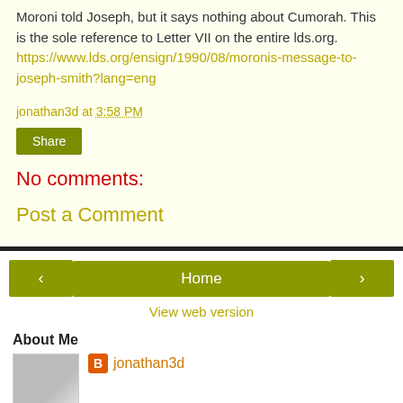Moroni told Joseph, but it says nothing about Cumorah. This is the sole reference to Letter VII on the entire lds.org. https://www.lds.org/ensign/1990/08/moronis-message-to-joseph-smith?lang=eng
jonathan3d at 3:58 PM
Share
No comments:
Post a Comment
Home
View web version
About Me
jonathan3d